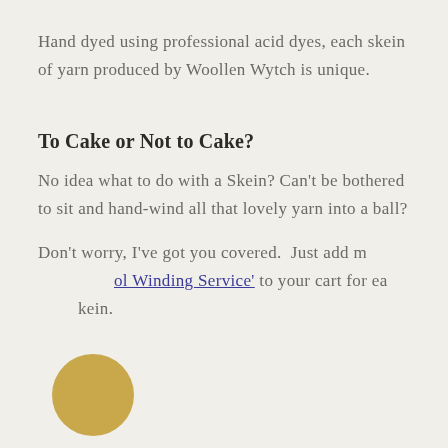Hand dyed using professional acid dyes, each skein of yarn produced by Woollen Wytch is unique.
To Cake or Not to Cake?
No idea what to do with a Skein? Can't be bothered to sit and hand-wind all that lovely yarn into a ball?
Don't worry, I've got you covered.  Just add my 'Wool Winding Service' to your cart for each skein.